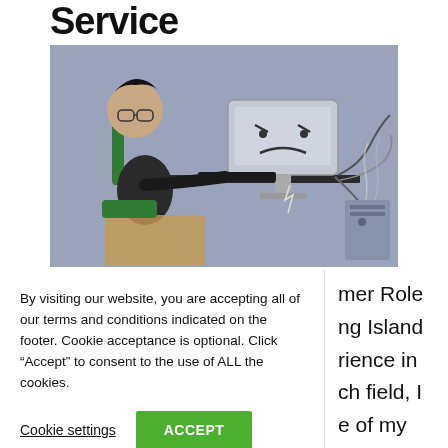Service
[Figure (illustration): Cartoon illustration of a frustrated person sitting at a desk looking at an angry computer monitor with cables and sparks around it, on a light purple/blue background.]
By visiting our website, you are accepting all of our terms and conditions indicated on the footer. Cookie acceptance is optional. Click “Accept” to consent to the use of ALL the cookies.
Cookie settings   ACCEPT
mer Role
ng Island
rience in
ch field, I
e of my
computers to a store for repair.